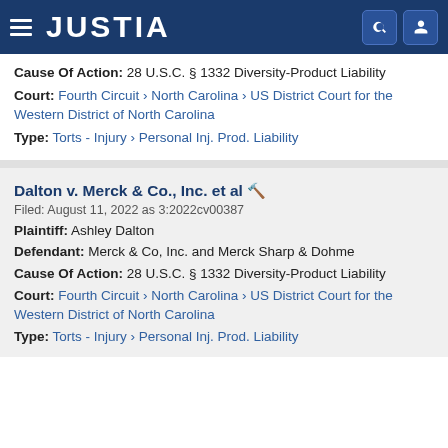JUSTIA
Cause Of Action: 28 U.S.C. § 1332 Diversity-Product Liability
Court: Fourth Circuit › North Carolina › US District Court for the Western District of North Carolina
Type: Torts - Injury › Personal Inj. Prod. Liability
Dalton v. Merck & Co., Inc. et al
Filed: August 11, 2022 as 3:2022cv00387
Plaintiff: Ashley Dalton
Defendant: Merck & Co, Inc. and Merck Sharp & Dohme
Cause Of Action: 28 U.S.C. § 1332 Diversity-Product Liability
Court: Fourth Circuit › North Carolina › US District Court for the Western District of North Carolina
Type: Torts - Injury › Personal Inj. Prod. Liability